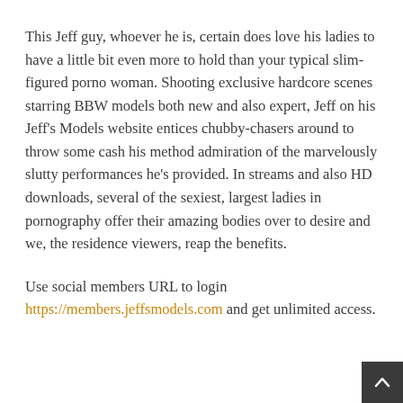This Jeff guy, whoever he is, certain does love his ladies to have a little bit even more to hold than your typical slim-figured porno woman. Shooting exclusive hardcore scenes starring BBW models both new and also expert, Jeff on his Jeff's Models website entices chubby-chasers around to throw some cash his method admiration of the marvelously slutty performances he's provided. In streams and also HD downloads, several of the sexiest, largest ladies in pornography offer their amazing bodies over to desire and we, the residence viewers, reap the benefits.
Use social members URL to login https://members.jeffsmodels.com and get unlimited access.